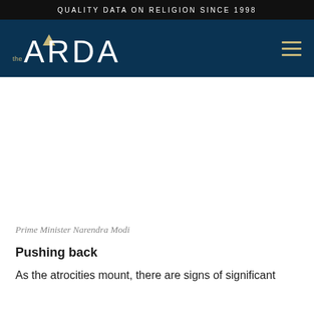QUALITY DATA ON RELIGION SINCE 1998
[Figure (logo): The ARDA logo — 'the' in small gold text followed by 'ARDA' in large white letters with a gold triangle accent over the 'A', on a dark navy background. A gold hamburger menu icon appears on the right.]
[Figure (photo): A large photograph area (mostly white/blank in this crop) — presumably an image of Prime Minister Narendra Modi.]
Prime Minister Narendra Modi
Pushing back
As the atrocities mount, there are signs of significant